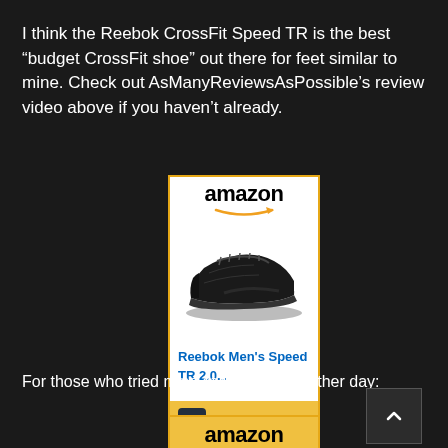I think the Reebok CrossFit Speed TR is the best “budget CrossFit shoe” out there for feet similar to mine. Check out AsManyReviewsAsPossible’s review video above if you haven’t already.
[Figure (screenshot): Amazon advertisement for Reebok Men's Speed TR 2.0 shoes, showing the Amazon logo, a photo of a black athletic shoe, product title 'Reebok Men's Speed TR 2.0...' as a blue link, and a gold 'Shop now' button bar with the Amazon 'a' icon.]
For those who tried mine at the gym the other day:
[Figure (screenshot): Bottom portion of another Amazon advertisement showing only the gold top strip with the amazon logo text visible.]